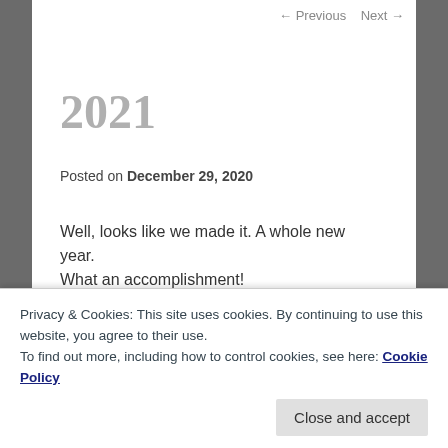← Previous   Next →
2021
Posted on December 29, 2020
Well, looks like we made it. A whole new year.
What an accomplishment!
Feels like the time for one of those particularly reflective end-of-the-year retrospectives, doesn't it?
Privacy & Cookies: This site uses cookies. By continuing to use this website, you agree to their use.
To find out more, including how to control cookies, see here: Cookie Policy